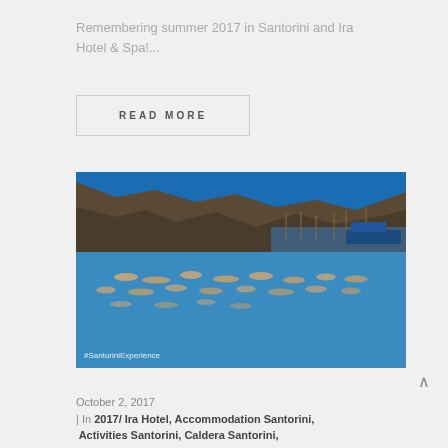Remembering summer 2017 in Santorini and Ira Hotel & Spa!...
READ MORE
[Figure (photo): Swimmers in open water near a rocky hillside with boats moored in the background, with the watermark #SantoriniExperience at the bottom left.]
October 2, 2017
| In 2017/ Ira Hotel, Accommodation Santorini, Activities Santorini, Caldera Santorini,